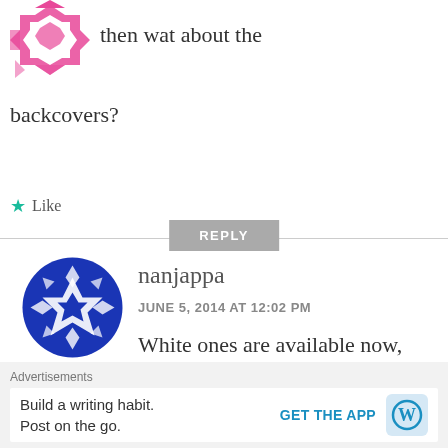[Figure (logo): Pink geometric / quilt-pattern avatar icon, partially visible at top left]
then wat about the backcovers?
★ Like
REPLY
[Figure (logo): Blue geometric / snowflake-pattern circular avatar icon for user nanjappa]
nanjappa
JUNE 5, 2014 AT 12:02 PM
White ones are available now, placed order for one
Advertisements
Build a writing habit. Post on the go.
GET THE APP